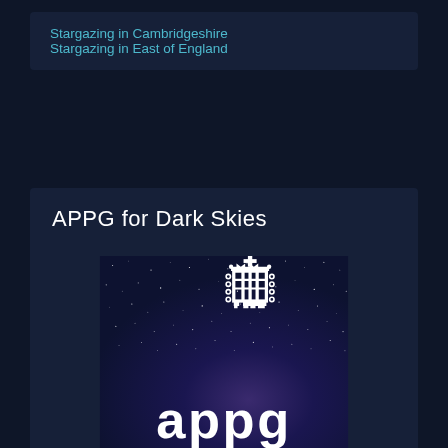Stargazing in Cambridgeshire
Stargazing in East of England
APPG for Dark Skies
[Figure (logo): APPG for Dark Skies card showing a starry night sky background with the UK Parliament portcullis logo in white and large white 'appg' text at the bottom]